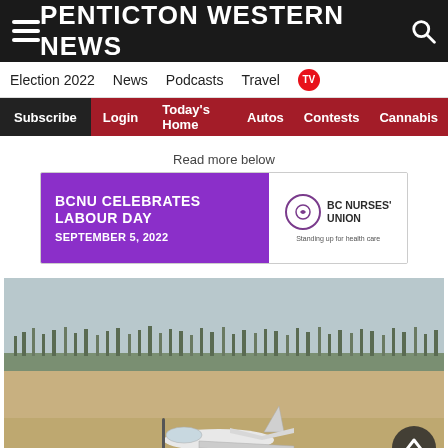PENTICTON WESTERN NEWS
Election 2022  News  Podcasts  Travel  TV
Subscribe  Login  Today's Home  Autos  Contests  Cannabis
Read more below
[Figure (other): Advertisement banner: 'BCNU CELEBRATES LABOUR DAY SEPTEMBER 5, 2022' with BC Nurses' Union logo and tagline 'Standing up for health care']
[Figure (photo): Photograph of a small propeller aircraft parked on a dry grass airfield with bare winter trees visible in the background under an overcast sky]